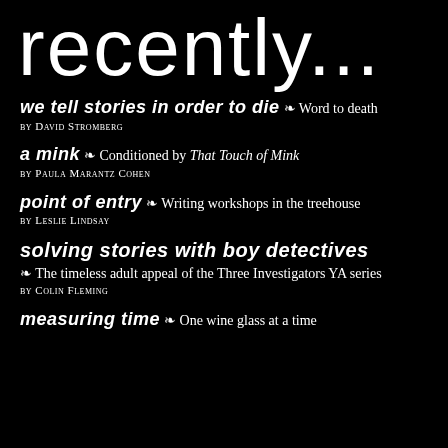recently...
we tell stories in order to die ❧ Word to death BY DAVID STROMBERG
a mink ❧ Conditioned by That Touch of Mink BY PAULA MARANTZ COHEN
point of entry ❧ Writing workshops in the treehouse BY LESLIE LINDSAY
solving stories with boy detectives ❧ The timeless adult appeal of the Three Investigators YA series BY COLIN FLEMING
measuring time ❧ One wine glass at a time